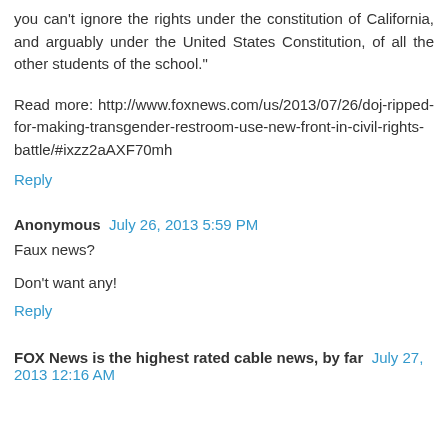you can't ignore the rights under the constitution of California, and arguably under the United States Constitution, of all the other students of the school."
Read more: http://www.foxnews.com/us/2013/07/26/doj-ripped-for-making-transgender-restroom-use-new-front-in-civil-rights-battle/#ixzz2aAXF70mh
Reply
Anonymous July 26, 2013 5:59 PM
Faux news?
Don't want any!
Reply
FOX News is the highest rated cable news, by far July 27, 2013 12:16 AM